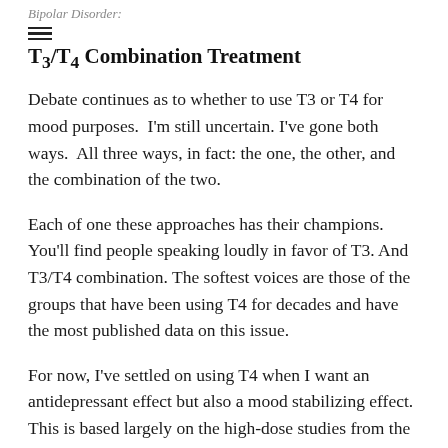Bipolar Disorder:
T3/T4 Combination Treatment
Debate continues as to whether to use T3 or T4 for mood purposes. I'm still uncertain. I've gone both ways. All three ways, in fact: the one, the other, and the combination of the two.
Each of one these approaches has their champions. You'll find people speaking loudly in favor of T3. And T3/T4 combination. The softest voices are those of the groups that have been using T4 for decades and have the most published data on this issue.
For now, I've settled on using T4 when I want an antidepressant effect but also a mood stabilizing effect. This is based largely on the high-dose studies from the now-far-flung UCLA group of Whybrow and Bauer. They have been doing this for a long time.